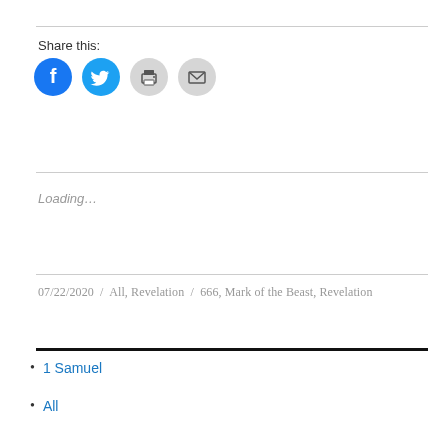Share this:
[Figure (infographic): Four social share icon buttons: Facebook (blue circle with 'f'), Twitter (light blue circle with bird icon), Print (gray circle with printer icon), Email (gray circle with envelope icon)]
Loading...
07/22/2020 / All, Revelation / 666, Mark of the Beast, Revelation
1 Samuel
All